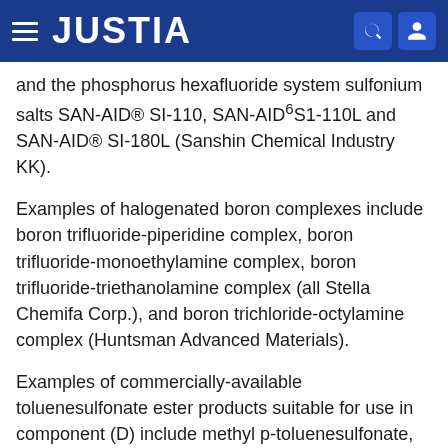JUSTIA
and the phosphorus hexafluoride system sulfonium salts SAN-AID® SI-110, SAN-AID⁶S1-110L and SAN-AID® SI-180L (Sanshin Chemical Industry KK).
Examples of halogenated boron complexes include boron trifluoride-piperidine complex, boron trifluoride-monoethylamine complex, boron trifluoride-triethanolamine complex (all Stella Chemifa Corp.), and boron trichloride-octylamine complex (Huntsman Advanced Materials).
Examples of commercially-available toluenesulfonate ester products suitable for use in component (D) include methyl p-toluenesulfonate, ethyl p-toluenesulfonate, n-propyl p-toluenesulfonate, cyclohexyl p-toluenesulfonate, 1,3-propanediyl di-p-toluenesulfonate, 2,2-dimethyl-1,3-propanediol bis(toluenesulfonate), and 4-(4-((phenylsulfonyl)oxy)phenoxy)phenyl p-